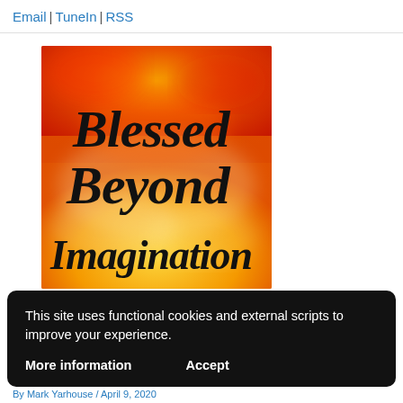Email | TuneIn | RSS
[Figure (illustration): Book cover or graphic artwork with orange, red, and yellow flame/cloud background. Text in large black italic script font reads: 'Blessed Beyond Imagination']
This site uses functional cookies and external scripts to improve your experience.
More information    Accept
By Mark Yarhouse / April 9, 2020